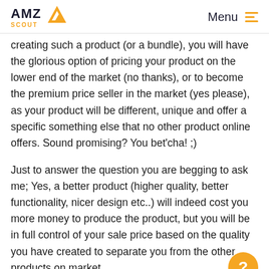AMZ SCOUT | Menu
creating such a product (or a bundle), you will have the glorious option of pricing your product on the lower end of the market (no thanks), or to become the premium price seller in the market (yes please), as your product will be different, unique and offer a specific something else that no other product online offers. Sound promising? You bet'cha! ;)
Just to answer the question you are begging to ask me; Yes, a better product (higher quality, better functionality, nicer design etc..) will indeed cost you more money to produce the product, but you will be in full control of your sale price based on the quality you have created to separate you from the other products on market.